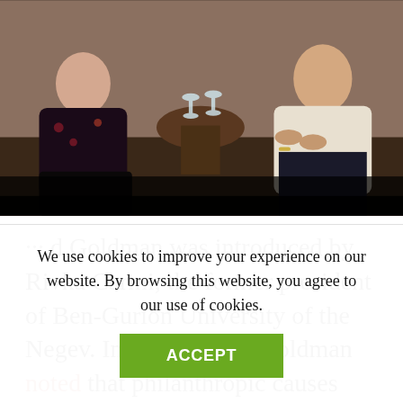[Figure (photo): Two people seated at a small round table with wine glasses; one person in dark floral clothing on the left, another in a light blazer on the right. Dark background.]
... Lloyd Goldman was introduced by Rivka Carmi, the former president of Ben-Gurion University of the Negev. In his remarks, Goldman noted that philanthropic causes help bring disparate groups within the Jewish community together. “I know it
We use cookies to improve your experience on our website. By browsing this website, you agree to our use of cookies.
ACCEPT